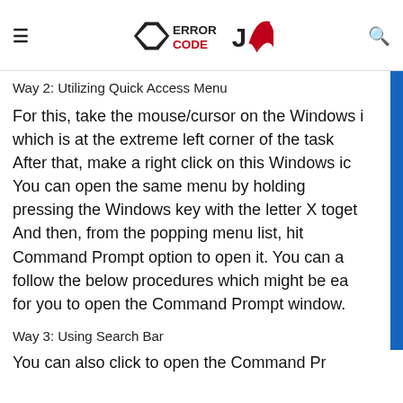ERROR CODE JX (logo)
Way 2: Utilizing Quick Access Menu
For this, take the mouse/cursor on the Windows icon which is at the extreme left corner of the taskbar. After that, make a right click on this Windows icon. You can open the same menu by holding and pressing the Windows key with the letter X together. And then, from the popping menu list, hit the Command Prompt option to open it. You can also follow the below procedures which might be easier for you to open the Command Prompt window.
Way 3: Using Search Bar
You can also click to open the Command Prompt